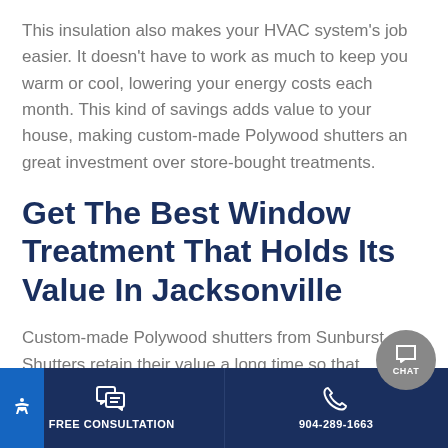This insulation also makes your HVAC system's job easier. It doesn't have to work as much to keep you warm or cool, lowering your energy costs each month. This kind of savings adds value to your house, making custom-made Polywood shutters an great investment over store-bought treatments.
Get The Best Window Treatment That Holds Its Value In Jacksonville
Custom-made Polywood shutters from Sunburst Shutters retain their value a long time so that
FREE CONSULTATION | 904-289-1663